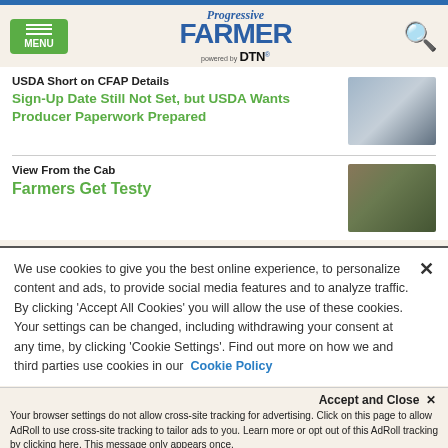Progressive FARMER powered by DTN
USDA Short on CFAP Details
Sign-Up Date Still Not Set, but USDA Wants Producer Paperwork Prepared
[Figure (photo): Thumbnail image for CFAP article]
View From the Cab
Farmers Get Testy
[Figure (photo): Thumbnail image showing two farmers for View From the Cab article]
We use cookies to give you the best online experience, to personalize content and ads, to provide social media features and to analyze traffic. By clicking 'Accept All Cookies' you will allow the use of these cookies. Your settings can be changed, including withdrawing your consent at any time, by clicking 'Cookie Settings'. Find out more on how we and third parties use cookies in our Cookie Policy
Accept and Close ×
Your browser settings do not allow cross-site tracking for advertising. Click on this page to allow AdRoll to use cross-site tracking to tailor ads to you. Learn more or opt out of this AdRoll tracking by clicking here. This message only appears once.